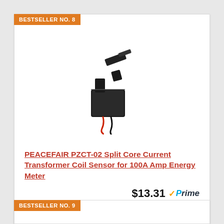BESTSELLER NO. 8
[Figure (photo): Black split core current transformer coil sensor with red and black wires, PEACEFAIR PZCT-02 product photo on white background]
PEACEFAIR PZCT-02 Split Core Current Transformer Coil Sensor for 100A Amp Energy Meter
$13.31 Prime
Buy on Amazon
BESTSELLER NO. 9